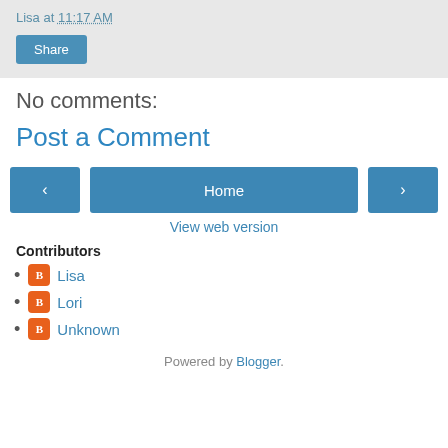Lisa at 11:17 AM
Share
No comments:
Post a Comment
< Home >
View web version
Contributors
Lisa
Lori
Unknown
Powered by Blogger.